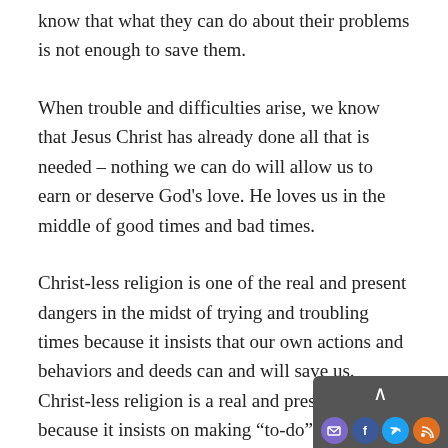know that what they can do about their problems is not enough to save them.
When trouble and difficulties arise, we know that Jesus Christ has already done all that is needed – nothing we can do will allow us to earn or deserve God's love. He loves us in the middle of good times and bad times.
Christ-less religion is one of the real and present dangers in the midst of trying and troubling times because it insists that our own actions and behaviors and deeds can and will save us. Christ-less religion is a real and present danger, because it insists on making “to-do” lists for you and me that have already been accomplished by Jesus Christ for us.
Christ-less religion demands that we participate in order to survive the storms of life, whereas the gospel of Jesus Christ tells us that Jesus is the Captain of our salvation, and he will